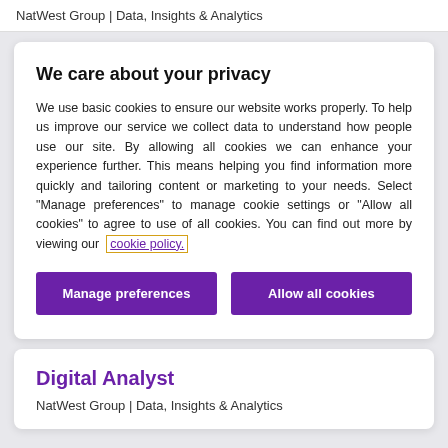NatWest Group | Data, Insights & Analytics
We care about your privacy
We use basic cookies to ensure our website works properly. To help us improve our service we collect data to understand how people use our site. By allowing all cookies we can enhance your experience further. This means helping you find information more quickly and tailoring content or marketing to your needs. Select "Manage preferences" to manage cookie settings or "Allow all cookies" to agree to use of all cookies. You can find out more by viewing our cookie policy.
Manage preferences
Allow all cookies
Digital Analyst
NatWest Group | Data, Insights & Analytics